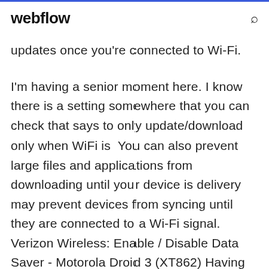webflow
updates once you're connected to Wi-Fi.
I'm having a senior moment here. I know there is a setting somewhere that you can check that says to only update/download only when WiFi is  You can also prevent large files and applications from downloading until your device is delivery may prevent devices from syncing until they are connected to a Wi-Fi signal. Verizon Wireless: Enable / Disable Data Saver - Motorola Droid 3 (XT862) Having Problems Downloading Apps on the Ascend With Android. Is it possible to do all software updates without WIFI if there is SHOP · APPS · SUPPORT b...